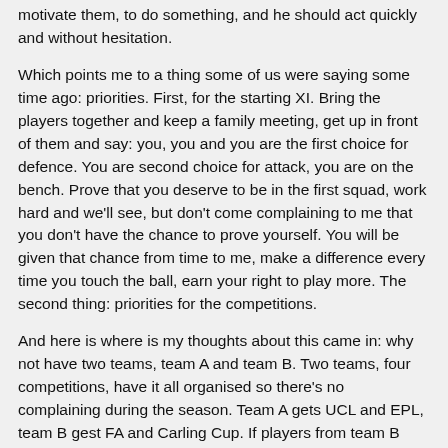motivate them, to do something, and he should act quickly and without hesitation.
Which points me to a thing some of us were saying some time ago: priorities. First, for the starting XI. Bring the players together and keep a family meeting, get up in front of them and say: you, you and you are the first choice for defence. You are second choice for attack, you are on the bench. Prove that you deserve to be in the first squad, work hard and we'll see, but don't come complaining to me that you don't have the chance to prove yourself. You will be given that chance from time to me, make a difference every time you touch the ball, earn your right to play more. The second thing: priorities for the competitions.
And here is where is my thoughts about this came in: why not have two teams, team A and team B. Two teams, four competitions, have it all organised so there's no complaining during the season. Team A gets UCL and EPL, team B gest FA and Carling Cup. If players from team B have an outstanding performance during the season, move them to team A, tu supplement the hunt for the first priority (I think this is a pleonasm, but heh, what to do). Now I'm not sure if something like this is possible and would actually be feasable, be it could prove a starting ground for a healthy competition between pl...